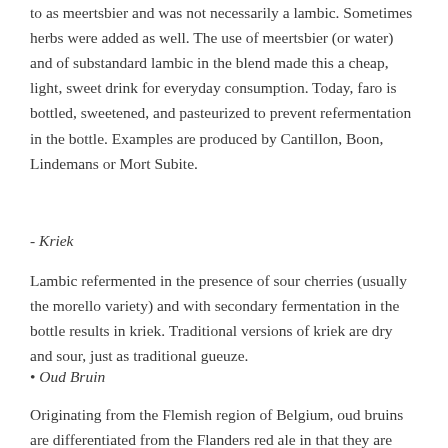to as meertsbier and was not necessarily a lambic. Sometimes herbs were added as well. The use of meertsbier (or water) and of substandard lambic in the blend made this a cheap, light, sweet drink for everyday consumption. Today, faro is bottled, sweetened, and pasteurized to prevent refermentation in the bottle. Examples are produced by Cantillon, Boon, Lindemans or Mort Subite.
- Kriek
Lambic refermented in the presence of sour cherries (usually the morello variety) and with secondary fermentation in the bottle results in kriek. Traditional versions of kriek are dry and sour, just as traditional gueuze.
• Oud Bruin
Originating from the Flemish region of Belgium, oud bruins are differentiated from the Flanders red ale in that they are